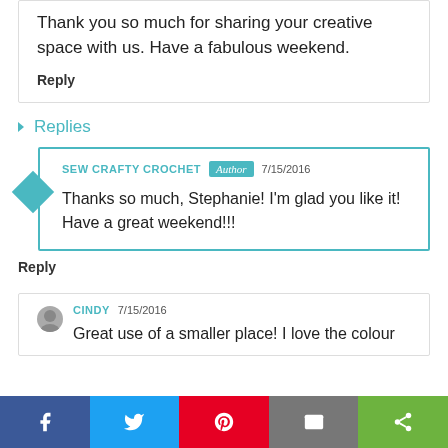Thank you so much for sharing your creative space with us. Have a fabulous weekend.
Reply
Replies
SEW CRAFTY CROCHET  Author  7/15/2016
Thanks so much, Stephanie! I'm glad you like it! Have a great weekend!!!
Reply
CINDY  7/15/2016
Great use of a smaller place! I love the colour